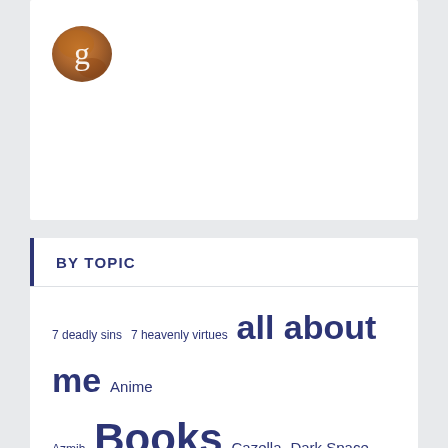[Figure (logo): Goodreads logo — brown watercolor-style circle with white lowercase g]
BY TOPIC
7 deadly sins 7 heavenly virtues all about me Anime Azmih Books Cazella Dark Space Domerin editing education freebie fridays free fiction Geekery high school history life the universe and everything Meaning of Life Stuff Modern Fantasy movies music Mystic Island nature Novels by Me OMG England project DDL Project EE Project IOLF